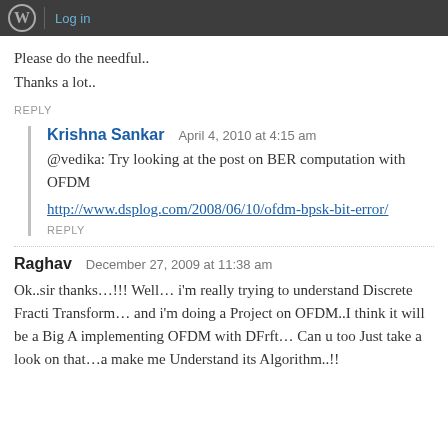Log in
Please do the needful..
Thanks a lot..
REPLY
Krishna Sankar   April 4, 2010 at 4:15 am
@vedika: Try looking at the post on BER computation with OFDM
http://www.dsplog.com/2008/06/10/ofdm-bpsk-bit-error/
REPLY
Raghav   December 27, 2009 at 11:38 am
Ok..sir thanks…!!! Well… i'm really trying to understand Discrete Fracti Transform… and i'm doing a Project on OFDM..I think it will be a Big A implementing OFDM with DFrft… Can u too Just take a look on that…a make me Understand its Algorithm..!!